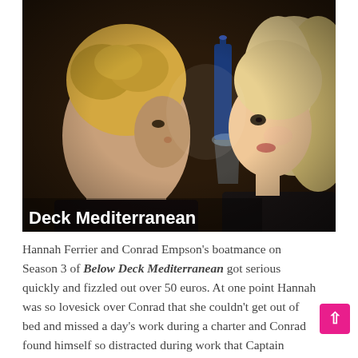[Figure (photo): Two people at a table in a restaurant/bar setting, a young man with curly blond hair on the left facing a young woman with long blond hair on the right. Bottles visible in the background. Text overlay 'Below Deck Mediterranean' in white bold text at the bottom left of the image.]
Hannah Ferrier and Conrad Empson's boatmance on Season 3 of Below Deck Mediterranean got serious quickly and fizzled out over 50 euros. At one point Hannah was so lovesick over Conrad that she couldn't get out of bed and missed a day's work during a charter and Conrad found himself so distracted during work that Captain Sandy noticed. What happened with Hannah and Conrad and do they still talk?